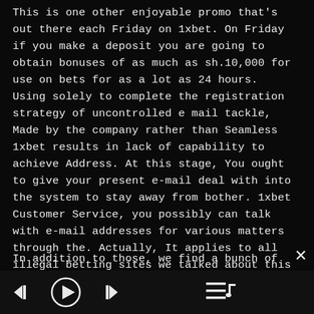This is one other enjoyable promo that's out there each Friday on 1xbet. On Friday if you make a deposit you are going to obtain bonuses of as much as sh.10,000 for use on bets for as a lot as 24 hours. Using solely to complete the registration strategy of uncontrolled e mail tackle, Made by the company rather than Seamless 1xbet results in lack of capability to achieve Address. At this stage, You ought to give your present e-mail deal with into the system to stay away from bother. 1xbet Customer Service, you possibly can talk with e-mail addresses for various matters through the. Actually, It applies to all illegal betting sites we talked about this 1xbet.
In addition to those, we find a bunch of extra video
in the special tailor-made section
called 1xGames. Here the punters don't select
[Figure (screenshot): Media player controls bar at the bottom of the screen with skip-back, play, skip-forward, and playlist/queue icons on a dark background. A close (X) button appears in the upper right of the overlay area.]